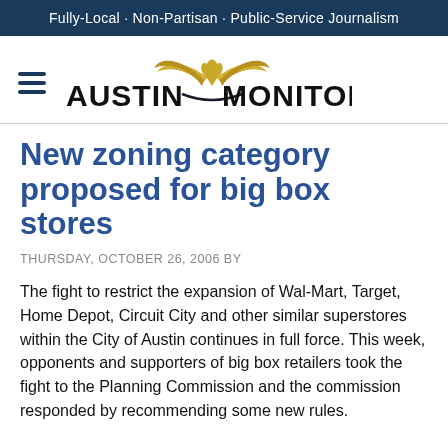Fully-Local · Non-Partisan · Public-Service Journalism
[Figure (logo): Austin Monitor logo with winged emblem and hamburger menu icon]
New zoning category proposed for big box stores
THURSDAY, OCTOBER 26, 2006 BY
The fight to restrict the expansion of Wal-Mart, Target, Home Depot, Circuit City and other similar superstores within the City of Austin continues in full force. This week, opponents and supporters of big box retailers took the fight to the Planning Commission and the commission responded by recommending some new rules.